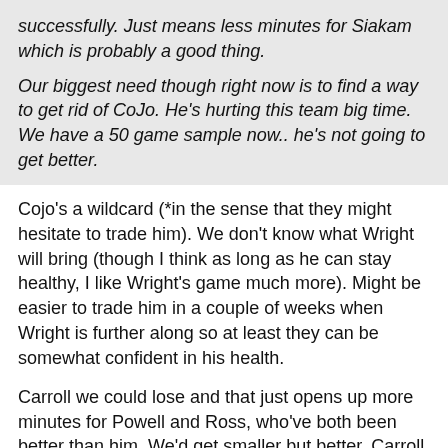successfully. Just means less minutes for Siakam which is probably a good thing.

Our biggest need though right now is to find a way to get rid of CoJo. He's hurting this team big time. We have a 50 game sample now.. he's not going to get better.
Cojo's a wildcard (*in the sense that they might hesitate to trade him). We don't know what Wright will bring (though I think as long as he can stay healthy, I like Wright's game much more). Might be easier to trade him in a couple of weeks when Wright is further along so at least they can be somewhat confident in his health.
Carroll we could lose and that just opens up more minutes for Powell and Ross, who've both been better than him. We'd get smaller but better. Carroll doesn't exactly play with imposing physicality on either end. And with his 6 inch vertical it's not like the extra inches he has in height mean anything.
It's funny that the problems this team has are basically the same as they were when they first turned the corner. To be theoint out the focus has to Mas it is la with